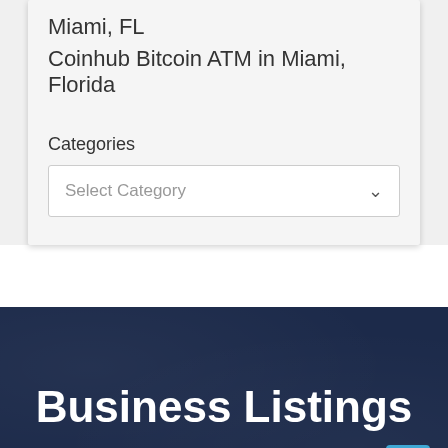Miami, FL
Coinhub Bitcoin ATM in Miami, Florida
Categories
Select Category
Business Listings
Sushi and Soul